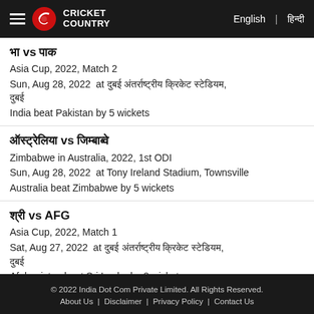Cricket Country | English | हिन्दी
भा vs पाक
Asia Cup, 2022, Match 2
Sun, Aug 28, 2022  at दुबई अंतर्राष्ट्रीय क्रिकेट स्टेडियम, दुबई
India beat Pakistan by 5 wickets
ऑस्ट्रेलिया vs जिम्बाब्वे
Zimbabwe in Australia, 2022, 1st ODI
Sun, Aug 28, 2022  at Tony Ireland Stadium, Townsville
Australia beat Zimbabwe by 5 wickets
श्री vs AFG
Asia Cup, 2022, Match 1
Sat, Aug 27, 2022  at दुबई अंतर्राष्ट्रीय क्रिकेट स्टेडियम, दुबई
Afghanistan beat Sri Lanka by 8 wickets
© 2022 India Dot Com Private Limited. All Rights Reserved. About Us | Disclaimer | Privacy Policy | Contact Us